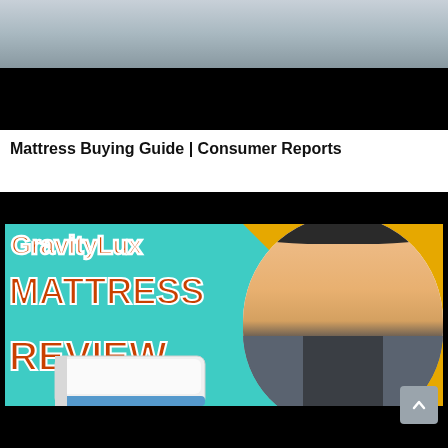[Figure (screenshot): Top partial screenshot showing a blurred/dark image with gray and black bands, representing the bottom of a previous video thumbnail.]
Mattress Buying Guide | Consumer Reports
[Figure (screenshot): YouTube video thumbnail for 'GravityLux Mattress Review'. Features large orange/red bold text reading 'GravityLux MATTRESS REVIEW' on a teal/cyan background with a yellow triangle in the upper right. A man in a gray zip-up fleece jacket is shown on the right side inside a white circle/cutout, smiling. A white mattress with blue trim is shown in the lower center-left with a hand pointing at it. Black bars at top and bottom of the video frame.]